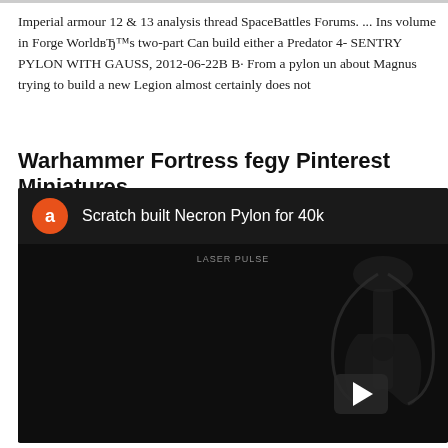Imperial armour 12 & 13 analysis thread SpaceBattles Forums. ... Ins volume in Forge WorldвЂ™s two-part Can build either a Predator 4- SENTRY PYLON WITH GAUSS, 2012-06-22В В· From a pylon un about Magnus trying to build a new Legion almost certainly does not
Warhammer Fortress fegy Pinterest Miniatures
[Figure (screenshot): YouTube video embed showing 'Scratch built Necron Pylon for 40k' with an orange avatar circle with letter 'a', white title text, and a dark video thumbnail showing a Necron pylon miniature with a YouTube play button overlay.]